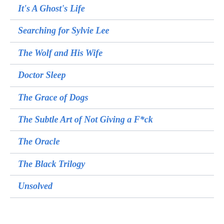It's A Ghost's Life
Searching for Sylvie Lee
The Wolf and His Wife
Doctor Sleep
The Grace of Dogs
The Subtle Art of Not Giving a F*ck
The Oracle
The Black Trilogy
Unsolved